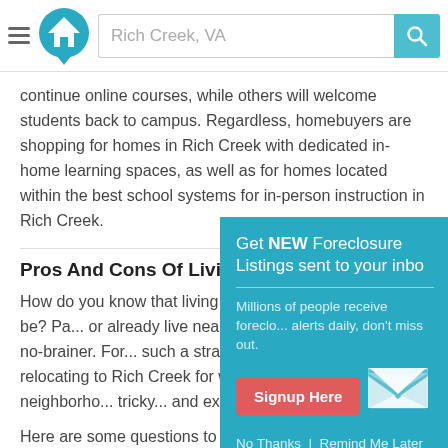Rich Creek, VA [search bar]
continue online courses, while others will welcome students back to campus. Regardless, homebuyers are shopping for homes in Rich Creek with dedicated in-home learning spaces, as well as for homes located within the best school systems for in-person instruction in Rich Creek.
Pros And Cons Of Living In...
How do you know that living in... right where you need to be? Pa... or already live nearby; therefo... Rich Creek is a no-brainer. For... such a straightforward or simp... relocating to Rich Creek for wo... getting a read on a neighborho... tricky... and exhausting.
Here are some questions to ask yourself when shopping for foreclosed homes for sale in Rich Creek:
[Figure (infographic): Popup overlay with teal background: 'Get NEW Foreclosure Listings sent to your inbox'. Subtitle: 'Millions of people receive foreclosure alerts daily, don't miss out.' Red button: 'Signup Here'. Envelope icon. Links: 'No Thanks | Remind Me Later']